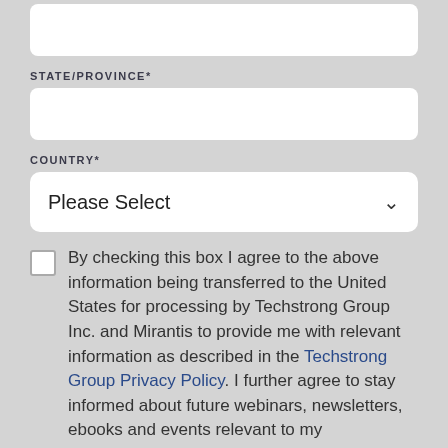[Figure (other): Empty text input field (top, partially visible)]
STATE/PROVINCE*
[Figure (other): Empty text input field for State/Province]
COUNTRY*
[Figure (other): Dropdown select field showing 'Please Select' with chevron]
By checking this box I agree to the above information being transferred to the United States for processing by Techstrong Group Inc. and Mirantis to provide me with relevant information as described in the Techstrong Group Privacy Policy. I further agree to stay informed about future webinars, newsletters, ebooks and events relevant to my professional interests from Techstrong Group and other third